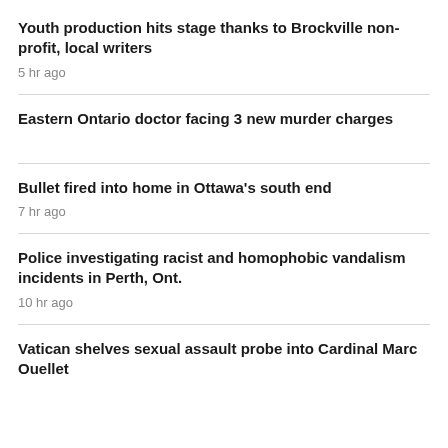Youth production hits stage thanks to Brockville non-profit, local writers
5 hr ago
Eastern Ontario doctor facing 3 new murder charges
Bullet fired into home in Ottawa's south end
7 hr ago
Police investigating racist and homophobic vandalism incidents in Perth, Ont.
10 hr ago
Vatican shelves sexual assault probe into Cardinal Marc Ouellet